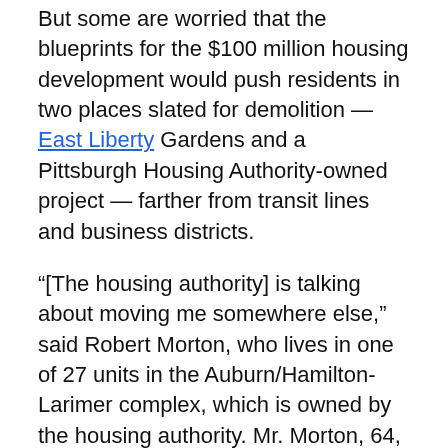But some are worried that the blueprints for the $100 million housing development would push residents in two places slated for demolition — East Liberty Gardens and a Pittsburgh Housing Authority-owned project — farther from transit lines and business districts.
“[The housing authority] is talking about moving me somewhere else,” said Robert Morton, who lives in one of 27 units in the Auburn/Hamilton-Larimer complex, which is owned by the housing authority. Mr. Morton, 64, uses a wheelchair.  “I can’t just uproot and go somewhere else.”
The city is currently preparing an application for a highly competitive $30 million grant from the U.S. Department of Housing and Urban Development, with hopes of building some 350 units of mixed-income housing in the struggling neighborhood, to support jobs, parks and businesses similar to those in neighboring East Liberty.